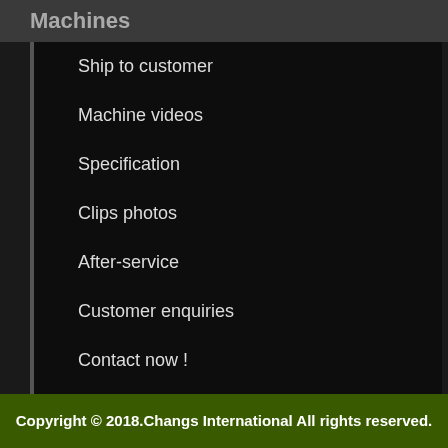Machines
Ship to customer
Machine videos
Specification
Clips photos
After-service
Customer enquiries
Contact now !
고객센터 바로가기
Copyright © 2018.Changs International All rights reserved.